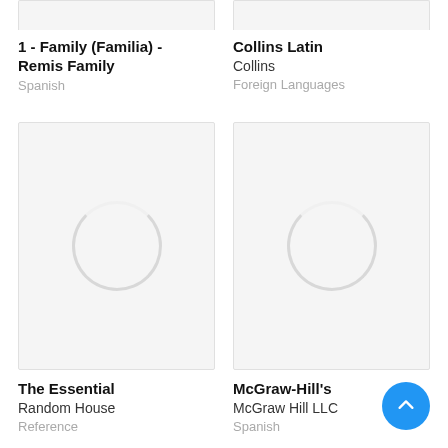[Figure (screenshot): Partial book cover placeholder (top crop) for '1 - Family (Familia) - Remis Family']
[Figure (screenshot): Partial book cover placeholder (top crop) for 'Collins Latin']
1 - Family (Familia) - Remis Family
Spanish
Collins Latin
Collins
Foreign Languages
[Figure (screenshot): Book cover placeholder with loading spinner for 'The Essential']
[Figure (screenshot): Book cover placeholder with loading spinner for 'McGraw-Hill’s']
The Essential
Random House
Reference
McGraw-Hill’s
McGraw Hill LLC
Spanish